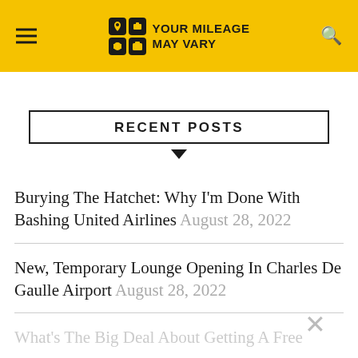YOUR MILEAGE MAY VARY
RECENT POSTS
Burying The Hatchet: Why I'm Done With Bashing United Airlines August 28, 2022
New, Temporary Lounge Opening In Charles De Gaulle Airport August 28, 2022
What's The Big Deal About Getting A Free